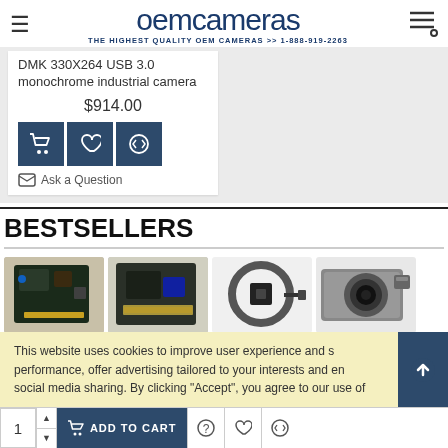oem cameras — THE HIGHEST QUALITY OEM CAMERAS >> 1-888-919-2263
DMK 330X264 USB 3.0 monochrome industrial camera
$914.00
Ask a Question
BESTSELLERS
[Figure (photo): Four bestseller product images: camera PCB board, camera module board, USB cable with sensor, enclosed industrial camera]
This website uses cookies to improve user experience and site performance, offer advertising tailored to your interests and enable social media sharing. By clicking "Accept", you agree to our use of
1  ADD TO CART